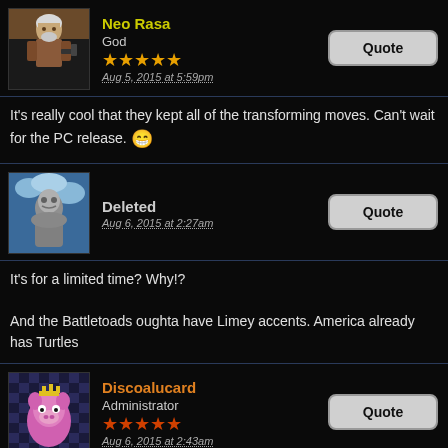Neo Rasa | God | ★★★★★ | Aug 5, 2015 at 5:59pm
It's really cool that they kept all of the transforming moves. Can't wait for the PC release. 😁
Deleted | Aug 6, 2015 at 2:27am
It's for a limited time? Why!?

And the Battletoads oughta have Limey accents. America already has Turtles
Discoalucard | Administrator | ★★★★★ | Aug 6, 2015 at 2:43am
It's just a beta test for now. They're bringing him back for permanent in Season 3.